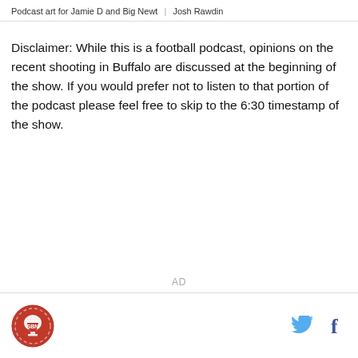Podcast art for Jamie D and Big Newt | Josh Rawdin
Disclaimer: While this is a football podcast, opinions on the recent shooting in Buffalo are discussed at the beginning of the show. If you would prefer not to listen to that portion of the podcast please feel free to skip to the 6:30 timestamp of the show.
AD